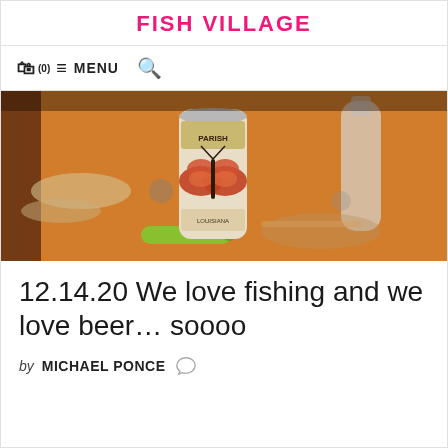FISH VILLAGE
(0) ≡ MENU 🔍
[Figure (photo): A beer can with a butterfly/moth design (Parish Brewing label) sitting on a wooden table surrounded by fishing lures and tackle.]
12.14.20 We love fishing and we love beer… soooo
by MICHAEL PONCE